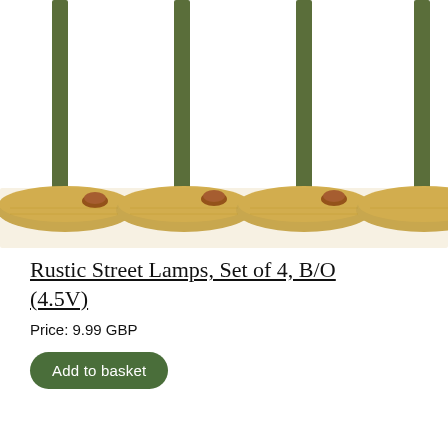[Figure (photo): Close-up photo of the bases of four rustic street lamp miniatures, showing decorative golden-tan textured bases with small reddish-brown mushroom decorations and olive green metal poles rising upward against a white background.]
Rustic Street Lamps, Set of 4, B/O (4.5V)
Price: 9.99 GBP
Add to basket